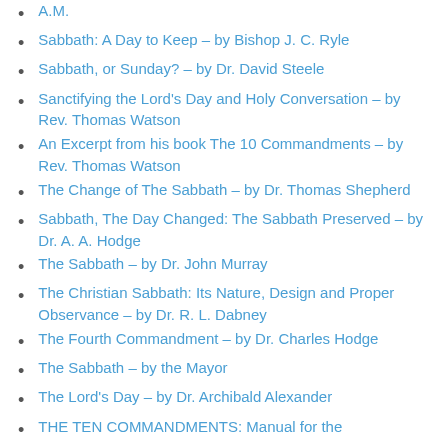A.M.
Sabbath: A Day to Keep – by Bishop J. C. Ryle
Sabbath, or Sunday? – by Dr. David Steele
Sanctifying the Lord's Day and Holy Conversation – by Rev. Thomas Watson
An Excerpt from his book The 10 Commandments – by Rev. Thomas Watson
The Change of The Sabbath – by Dr. Thomas Shepherd
Sabbath, The Day Changed: The Sabbath Preserved – by Dr. A. A. Hodge
The Sabbath – by Dr. John Murray
The Christian Sabbath: Its Nature, Design and Proper Observance – by Dr. R. L. Dabney
The Fourth Commandment – by Dr. Charles Hodge
The Sabbath – by the Mayor
The Lord's Day – by Dr. Archibald Alexander
THE TEN COMMANDMENTS: Manual for the